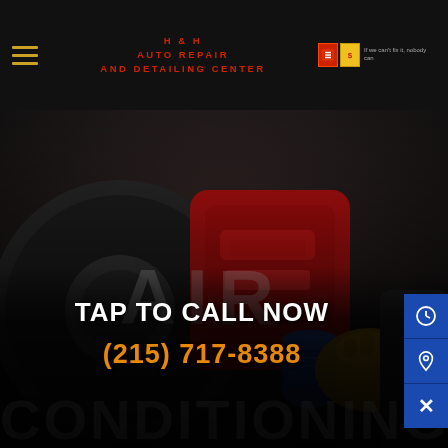H & H AUTO REPAIR AND DETAILING CENTER
[Figure (photo): Mechanic working with a red and blue tool on a car wheel/brake assembly, wearing yellow gloves. Background is dark workshop.]
TAP TO CALL NOW
(215) 717-8388
AIR CONDITIONING